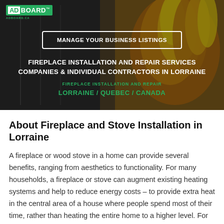[Figure (photo): Hero banner image showing a fireplace with flames, overlaid with dark semi-transparent overlay, AdBoard logo, a button, and text]
FIREPLACE INSTALLATION AND REPAIR SERVICES COMPANIES & INDIVIDUAL CONTRACTORS IN LORRAINE
FIREPLACE INSTALLATION AND REPAIR LORRAINE / QUEBEC / CANADA
About Fireplace and Stove Installation in Lorraine
A fireplace or wood stove in a home can provide several benefits, ranging from aesthetics to functionality. For many households, a fireplace or stove can augment existing heating systems and help to reduce energy costs – to provide extra heat in the central area of a house where people spend most of their time, rather than heating the entire home to a higher level. For others, having a working fireplace or stove may be a